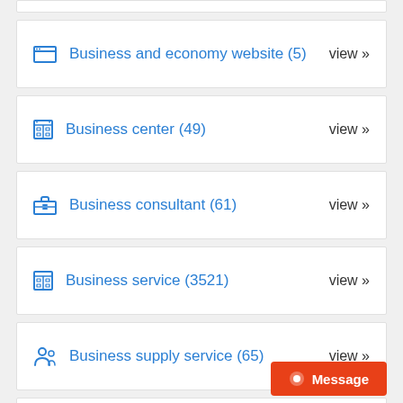Business and economy website (5)  view »
Business center (49)  view »
Business consultant (61)  view »
Business service (3521)  view »
Business supply service (65)  view »
Message